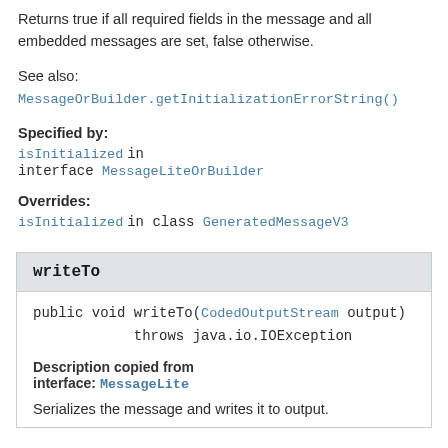Returns true if all required fields in the message and all embedded messages are set, false otherwise.
See also:
MessageOrBuilder.getInitializationErrorString()
Specified by:
isInitialized in interface MessageLiteOrBuilder
Overrides:
isInitialized in class GeneratedMessageV3
writeTo
public void writeTo(CodedOutputStream output)
        throws java.io.IOException
Description copied from interface: MessageLite
Serializes the message and writes it to output.